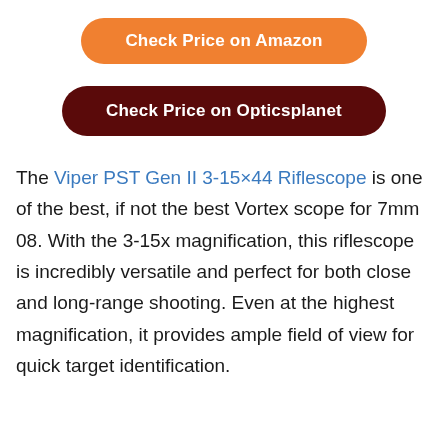Check Price on Amazon
Check Price on Opticsplanet
The Viper PST Gen II 3-15×44 Riflescope is one of the best, if not the best Vortex scope for 7mm 08. With the 3-15x magnification, this riflescope is incredibly versatile and perfect for both close and long-range shooting. Even at the highest magnification, it provides ample field of view for quick target identification.